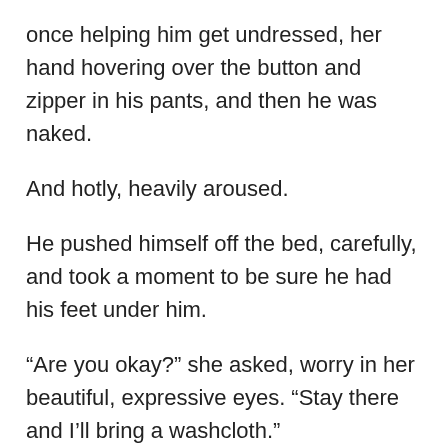once helping him get undressed, her hand hovering over the button and zipper in his pants, and then he was naked.
And hotly, heavily aroused.
He pushed himself off the bed, carefully, and took a moment to be sure he had his feet under him.
“Are you okay?” she asked, worry in her beautiful, expressive eyes. “Stay there and I’ll bring a washcloth.”
“Just making sure I don’t face-plant in your carpet. That would ruin the mood.” He took a tentative step, then